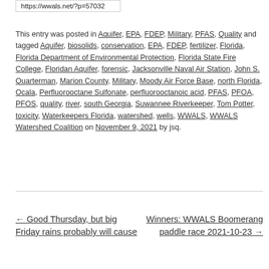https://wwals.net/?p=57032
This entry was posted in Aquifer, EPA, FDEP, Military, PFAS, Quality and tagged Aquifer, biosolids, conservation, EPA, FDEP, fertilizer, Florida, Florida Department of Environmental Protection, Florida State Fire College, Floridan Aquifer, forensic, Jacksonville Naval Air Station, John S. Quarterman, Marion County, Military, Moody Air Force Base, north Florida, Ocala, Perfluorooctane Sulfonate, perfluorooctanoic acid, PFAS, PFOA, PFOS, quality, river, south Georgia, Suwannee Riverkeeper, Tom Potter, toxicity, Waterkeepers Florida, watershed, wells, WWALS, WWALS Watershed Coalition on November 9, 2021 by jsq.
← Good Thursday, but big Friday rains probably will cause
Winners: WWALS Boomerang paddle race 2021-10-23 →